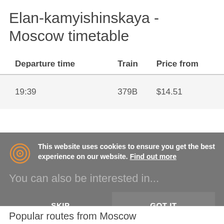Elan-kamyishinskaya - Moscow timetable
| Departure time | Train | Price from |
| --- | --- | --- |
| 19:39 | 379B | $14.51 |
This website uses cookies to ensure you get the best experience on our website. Find out more
You can also be interested in...
SKIP
GOT IT
Popular routes from Moscow